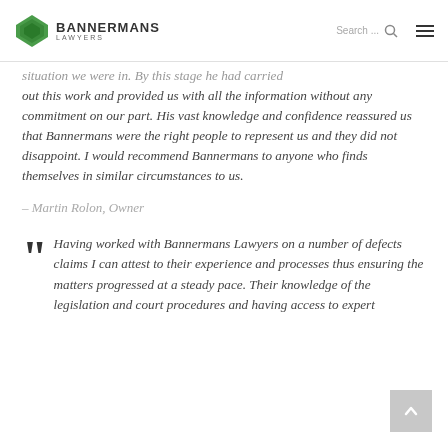BANNERMANS LAWYERS
situation we were in. By this stage he had carried out this work and provided us with all the information without any commitment on our part. His vast knowledge and confidence reassured us that Bannermans were the right people to represent us and they did not disappoint. I would recommend Bannermans to anyone who finds themselves in similar circumstances to us.
– Martin Rolon, Owner
Having worked with Bannermans Lawyers on a number of defects claims I can attest to their experience and processes thus ensuring the matters progressed at a steady pace. Their knowledge of the legislation and court procedures and having access to expert